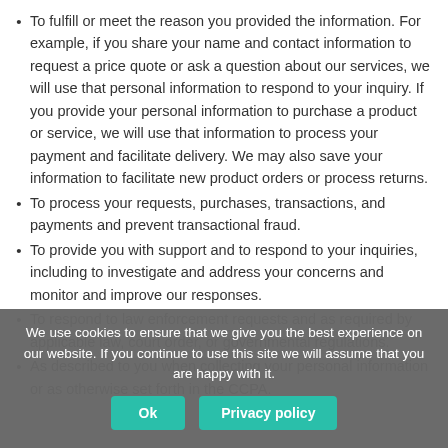To fulfill or meet the reason you provided the information. For example, if you share your name and contact information to request a price quote or ask a question about our services, we will use that personal information to respond to your inquiry. If you provide your personal information to purchase a product or service, we will use that information to process your payment and facilitate delivery. We may also save your information to facilitate new product orders or process returns.
To process your requests, purchases, transactions, and payments and prevent transactional fraud.
To provide you with support and to respond to your inquiries, including to investigate and address your concerns and monitor and improve our responses.
To respond to law enforcement requests and as required by applicable law, court order, or governmental regulations.
As described to you when collecting your personal information or as otherwise set forth in the CCPA.
We use cookies to ensure that we give you the best experience on our website. If you continue to use this site we will assume that you are happy with it.